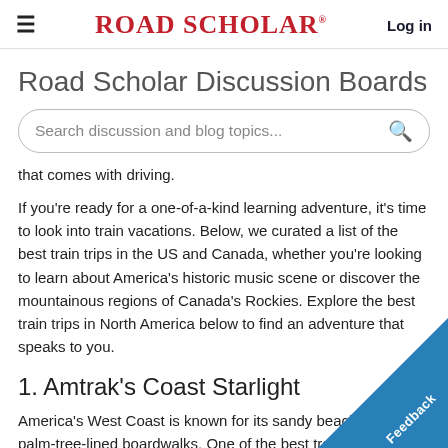≡  ROAD SCHOLAR®  Log in
Road Scholar Discussion Boards
[Figure (other): Search box with placeholder text 'Search discussion and blog topics...' and a search icon]
that comes with driving.
If you're ready for a one-of-a-kind learning adventure, it's time to look into train vacations. Below, we curated a list of the best train trips in the US and Canada, whether you're looking to learn about America's historic music scene or discover the mountainous regions of Canada's Rockies. Explore the best train trips in North America below to find an adventure that speaks to you.
1. Amtrak's Coast Starlight
America's West Coast is known for its sandy beaches and palm-tree-lined boardwalks. One of the best train rides in the US and Canada runs through Amtrack's Coast Starlight. The Coast Starlight starts in Los